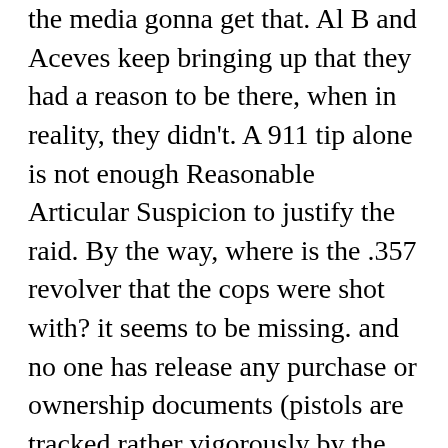the media gonna get that. Al B and Aceves keep bringing up that they had a reason to be there, when in reality, they didn't. A 911 tip alone is not enough Reasonable Articular Suspicion to justify the raid. By the way, where is the .357 revolver that the cops were shot with? it seems to be missing. and no one has release any purchase or ownership documents (pistols are tracked rather vigorously by the Feds!) showing he had a .357 and there is not one in evidence. Nor have any pictures of the guns been released. Harping on hunting guns to make them look like heavily armed druggies, when they obviously were not. There is a lot more rotten here than the media is reporting. One source has stated on the web the man was shot from a side window to make sure he was dead long after the officers pulled out. Coup de tat is illegal in the U.S. Where is the info